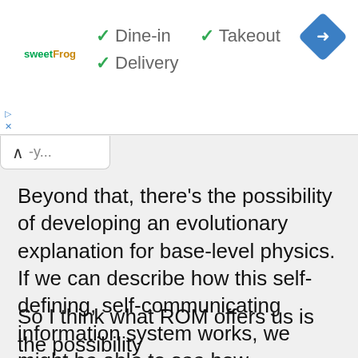[Figure (screenshot): Advertisement banner for sweetFrog restaurant showing checkmarks for Dine-in, Takeout, and Delivery options, with a navigation/directions icon in the top right corner.]
Beyond that, there's the possibility of developing an evolutionary explanation for base-level physics. If we can describe how this self-defining, self-communicating information system works, we might be able to see how something like this could evolve by “natural selection” out of the chaotic background of a quantum vacuum – i.e. out of a random superposition of all possible interaction-webs (most of which wouldn’t succeed in defining any information).
So I think what ROM offers us is the possibility